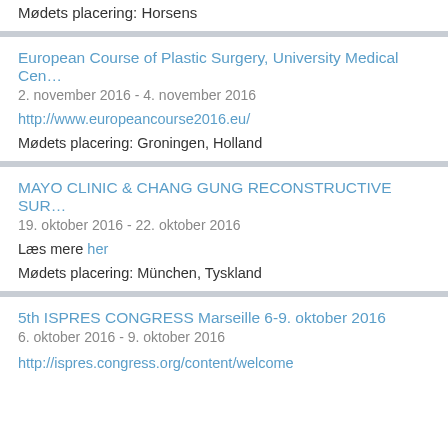Mødets placering: Horsens
European Course of Plastic Surgery, University Medical Cen…
2. november 2016 - 4. november 2016
http://www.europeancourse2016.eu/
Mødets placering: Groningen, Holland
MAYO CLINIC & CHANG GUNG RECONSTRUCTIVE SUR…
19. oktober 2016 - 22. oktober 2016
Læs mere her
Mødets placering: München, Tyskland
5th ISPRES CONGRESS Marseille 6-9. oktober 2016
6. oktober 2016 - 9. oktober 2016
http://ispres.congress.org/content/welcome